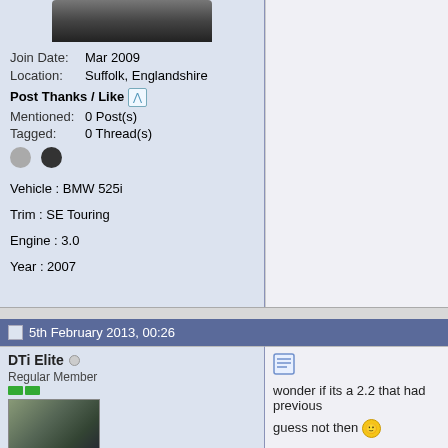Join Date: Mar 2009
Location: Suffolk, Englandshire
Post Thanks / Like
Mentioned: 0 Post(s)
Tagged: 0 Thread(s)
Vehicle : BMW 525i
Trim : SE Touring
Engine : 3.0
Year : 2007
5th February 2013, 00:26
DTi Elite
Regular Member
wonder if its a 2.2 that had previous
guess not then